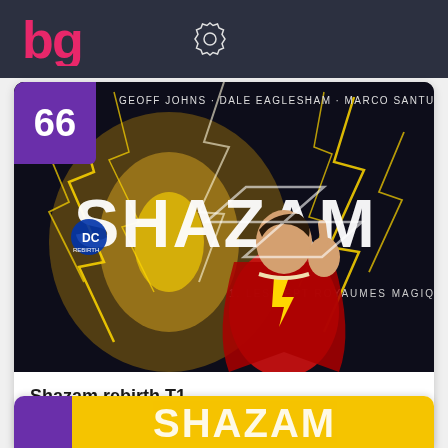bg [logo] [gear icon]
[Figure (photo): Comic book cover of Shazam Rebirth T1, showing the superhero Shazam in red costume with lightning bolts. Authors listed: Geoff Johns - Dale Eaglesham - Marco Santucci. DC Comics. Subtitle: Les Sept Royaumes Magiques. Rank badge showing 66 in purple.]
Shazam rebirth T1
20  Voter
[Figure (photo): Partial second card visible at bottom with purple rank badge and yellow cover.]